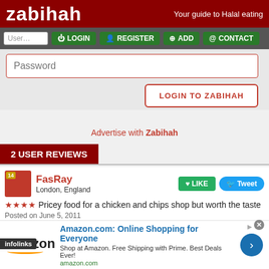zabihah — Your guide to Halal eating
[Figure (screenshot): Navigation bar with LOGIN, REGISTER, ADD, CONTACT buttons on dark grey background]
[Figure (screenshot): Password input field with red border and LOGIN TO ZABIHAH button]
Advertise with Zabihah
2 USER REVIEWS
FasRay
London, England
★★★★ Pricey food for a chicken and chips shop but worth the taste
Posted on June 5, 2011
najeel
nowhere
[Figure (screenshot): Amazon.com advertisement banner: Online Shopping for Everyone. Shop at Amazon. Free Shipping with Prime. Best Deals Ever! amazon.com]